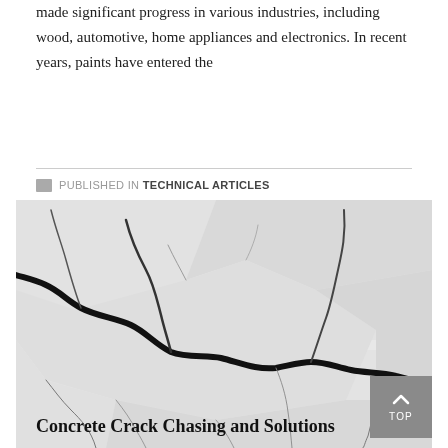made significant progress in various industries, including wood, automotive, home appliances and electronics. In recent years, paints have entered the
PUBLISHED IN TECHNICAL ARTICLES
[Figure (photo): Close-up photograph of cracked concrete or plaster surface showing large bold black cracks radiating across a light grey background with smaller hairline cracks.]
Concrete Crack Chasing and Solutions